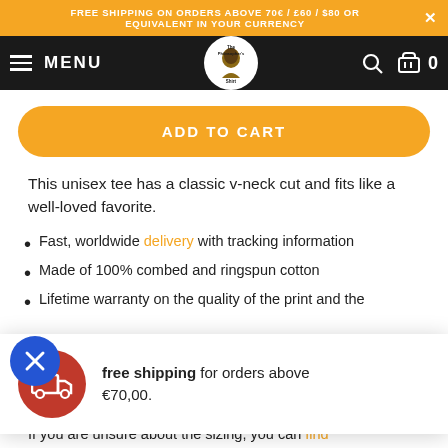FREE SHIPPING ON ORDERS ABOVE 70€ / £60 / $80 OR EQUIVALENT IN YOUR CURRENCY
[Figure (screenshot): Navigation bar with hamburger MENU, The Philosopher's Shirt logo, search icon, and cart icon showing 0 items]
ADD TO CART
This unisex tee has a classic v-neck cut and fits like a well-loved favorite.
Fast, worldwide delivery with tracking information
Made of 100% combed and ringspun cotton
Lifetime warranty on the quality of the print and the
[Figure (infographic): Popup notification showing a red circle with delivery truck icon and text: free shipping for orders above €70,00.]
Not convinced yet? Check out our latest customer reviews
If you are unsure about the sizing, you can find